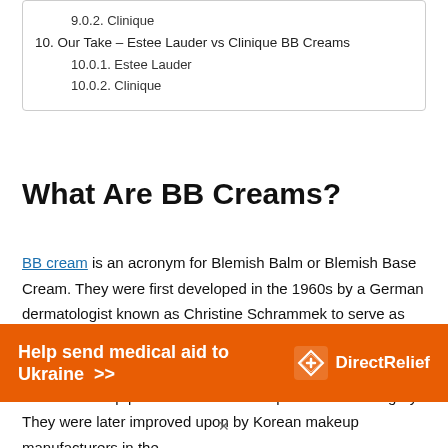9.0.2. Clinique
10. Our Take – Estee Lauder vs Clinique BB Creams
10.0.1. Estee Lauder
10.0.2. Clinique
What Are BB Creams?
BB cream is an acronym for Blemish Balm or Blemish Base Cream. They were first developed in the 1960s by a German dermatologist known as Christine Schrammek to serve as moisturizers, sunscreens and foundations.
Dr. Schrammek initially created what is today known as BB Creams to help protect the skin of her patients after surgery. They were later improved upon by Korean makeup manufacturers in the
[Figure (infographic): Orange advertisement banner for DirectRelief reading 'Help send medical aid to Ukraine >>' with DirectRelief logo on the right.]